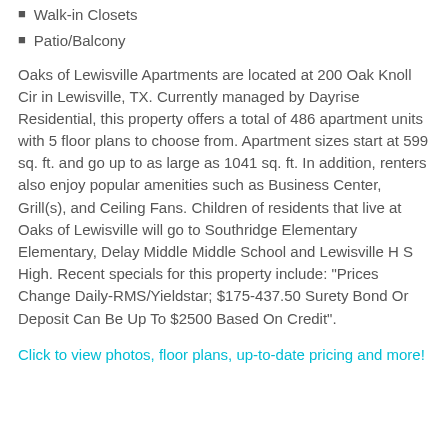Walk-in Closets
Patio/Balcony
Oaks of Lewisville Apartments are located at 200 Oak Knoll Cir in Lewisville, TX. Currently managed by Dayrise Residential, this property offers a total of 486 apartment units with 5 floor plans to choose from. Apartment sizes start at 599 sq. ft. and go up to as large as 1041 sq. ft. In addition, renters also enjoy popular amenities such as Business Center, Grill(s), and Ceiling Fans. Children of residents that live at Oaks of Lewisville will go to Southridge Elementary Elementary, Delay Middle Middle School and Lewisville H S High. Recent specials for this property include: "Prices Change Daily-RMS/Yieldstar; $175-437.50 Surety Bond Or Deposit Can Be Up To $2500 Based On Credit".
Click to view photos, floor plans, up-to-date pricing and more!